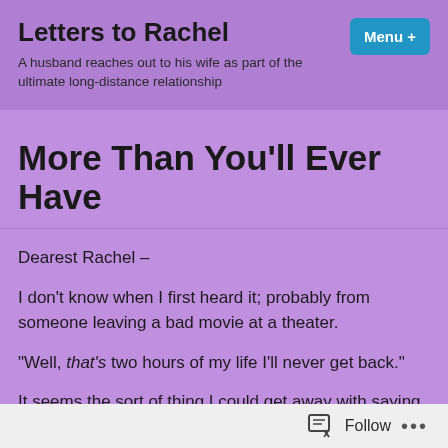Letters to Rachel
A husband reaches out to his wife as part of the ultimate long-distance relationship
More Than You'll Ever Have
Dearest Rachel –
I don't know when I first heard it; probably from someone leaving a bad movie at a theater.
“Well, that’s two hours of my life I’ll never get back.”
It seems the sort of thing I could get away with saying
Follow ...